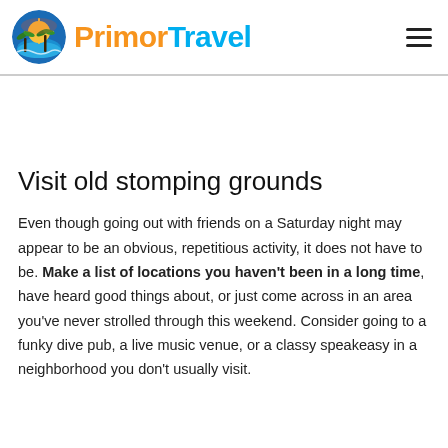PrimorTravel
Visit old stomping grounds
Even though going out with friends on a Saturday night may appear to be an obvious, repetitious activity, it does not have to be. Make a list of locations you haven't been in a long time, have heard good things about, or just come across in an area you've never strolled through this weekend. Consider going to a funky dive pub, a live music venue, or a classy speakeasy in a neighborhood you don't usually visit.